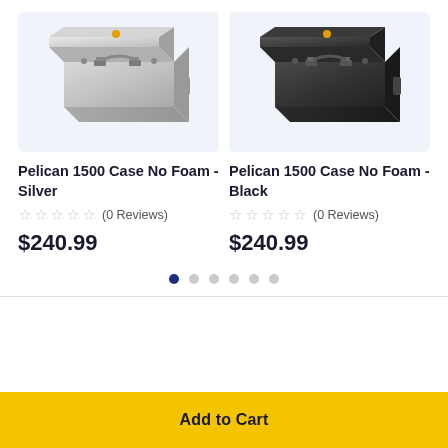[Figure (photo): Pelican 1500 Case No Foam in silver color, shown at angle on light blue background]
[Figure (photo): Pelican 1500 Case No Foam in black color, shown at angle on light blue background]
Pelican 1500 Case No Foam - Silver
☆☆☆☆☆ (0 Reviews)
$240.99
Pelican 1500 Case No Foam - Black
☆☆☆☆☆ (0 Reviews)
$240.99
Add to Cart